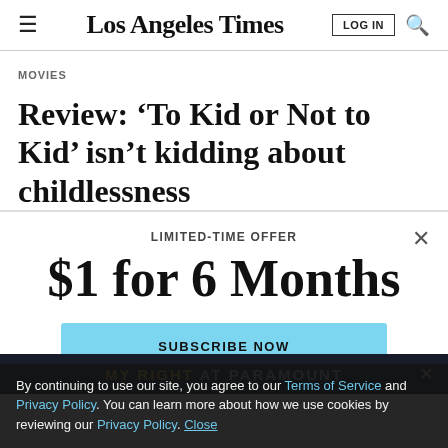Los Angeles Times
MOVIES
Review: 'To Kid or Not to Kid' isn't kidding about childlessness
LIMITED-TIME OFFER
$1 for 6 Months
SUBSCRIBE NOW
By continuing to use our site, you agree to our Terms of Service and Privacy Policy. You can learn more about how we use cookies by reviewing our Privacy Policy. Close